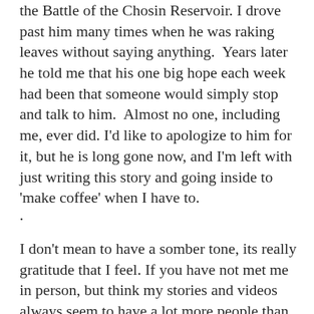the Battle of the Chosin Reservoir. I drove past him many times when he was raking leaves without saying anything.  Years later he told me that his one big hope each week had been that someone would simply stop and talk to him.  Almost no one, including me, ever did. I'd like to apologize to him for it, but he is long gone now, and I'm left with just writing this story and going inside to 'make coffee' when I have to.
.
I don't mean to have a somber tone, its really gratitude that I feel. If you have not met me in person, but think my stories and videos always seem to have a lot more people than engines in them, understand that I really find my work